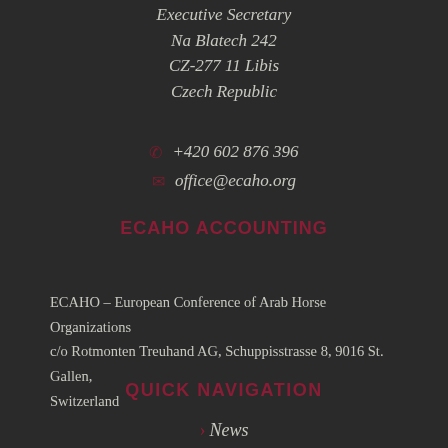Executive Secretary
Na Blatech 242
CZ-277 11 Libis
Czech Republic
+420 602 876 396
office@ecaho.org
ECAHO ACCOUNTING
ECAHO – European Conference of Arab Horse Organizations c/o Rotmonten Treuhand AG, Schuppisstrasse 8, 9016 St. Gallen, Switzerland
QUICK NAVIGATION
News